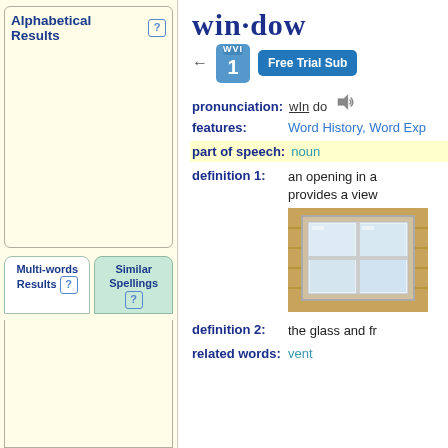Alphabetical Results
Multi-words Results
Similar Spellings
win·dow
Free Trial Sub
pronunciation: wIn do
features: Word History, Word Exp
part of speech: noun
definition 1: an opening in a wall that provides a view
[Figure (photo): Photograph of a window with wooden frame on a house exterior]
definition 2: the glass and fr
related words: vent